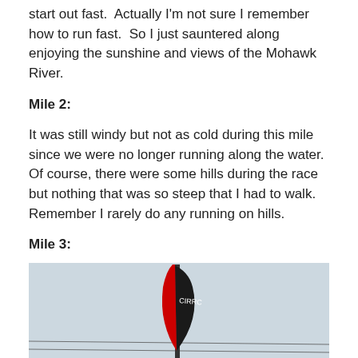start out fast.  Actually I'm not sure I remember how to run fast.  So I just sauntered along enjoying the sunshine and views of the Mohawk River.
Mile 2:
It was still windy but not as cold during this mile since we were no longer running along the water.  Of course, there were some hills during the race but nothing that was so steep that I had to walk.  Remember I rarely do any running on hills.
Mile 3:
[Figure (photo): Photo of a tall, dark-colored banner/flag at what appears to be a race event, with a light grey sky background and power lines visible.]